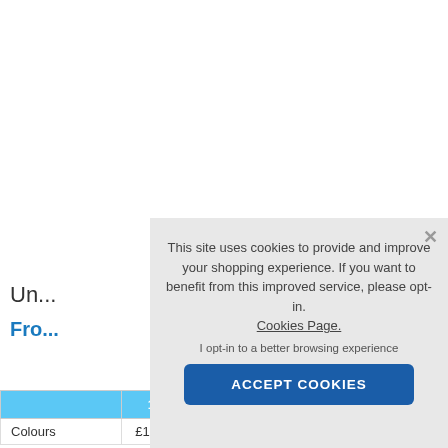Un...
Fro...
|  | 1+ |
| --- | --- |
| Colours | £19.42 | ... | ... | ... | ... |
[Figure (screenshot): Cookie consent modal overlay with text: 'This site uses cookies to provide and improve your shopping experience. If you want to benefit from this improved service, please opt-in. Cookies Page. I opt-in to a better browsing experience' and an ACCEPT COOKIES button.]